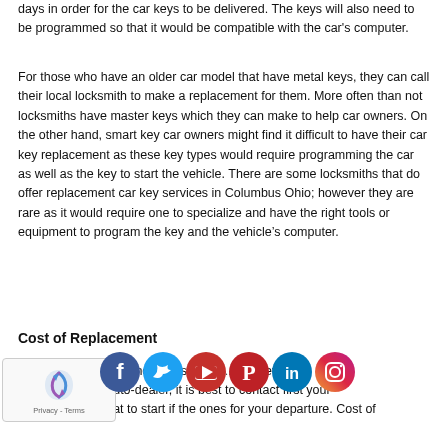days in order for the car keys to be delivered. The keys will also need to be programmed so that it would be compatible with the car's computer.
For those who have an older car model that have metal keys, they can call their local locksmith to make a replacement for them. More often than not locksmiths have master keys which they can make to help car owners. On the other hand, smart key car owners might find it difficult to have their car key replacement as these key types would require programming the car as well as the key to start the vehicle. There are some locksmiths that do offer replacement car key services in Columbus Ohio; however they are rare as it would require one to specialize and have the right tools or equipment to program the key and the vehicle's computer.
Cost of Replacement
[Figure (other): reCAPTCHA widget with Privacy - Terms text]
[Figure (other): Social media icons row: Facebook, Twitter, YouTube, Pinterest, LinkedIn, Instagram]
...g one's keys can b... however, ...ng your auto-dealer, it is best to contact first your local locksmith that to start if the ones for your departure. Cost of...